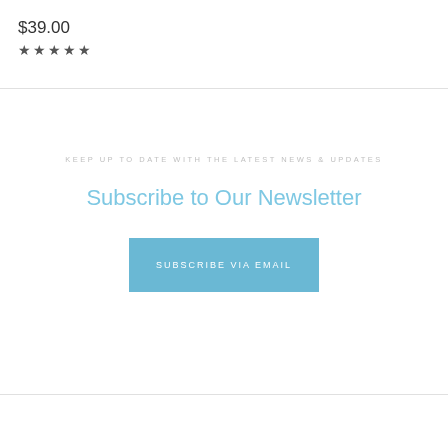$39.00
★★★★★
KEEP UP TO DATE WITH THE LATEST NEWS & UPDATES
Subscribe to Our Newsletter
SUBSCRIBE VIA EMAIL